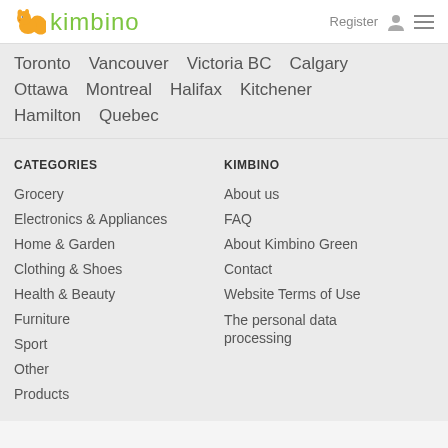kimbino — Register
Toronto   Vancouver   Victoria BC   Calgary
Ottawa   Montreal   Halifax   Kitchener
Hamilton   Quebec
CATEGORIES
KIMBINO
Grocery
About us
Electronics & Appliances
FAQ
Home & Garden
About Kimbino Green
Clothing & Shoes
Contact
Health & Beauty
Website Terms of Use
Furniture
The personal data processing
Sport
Other
Products